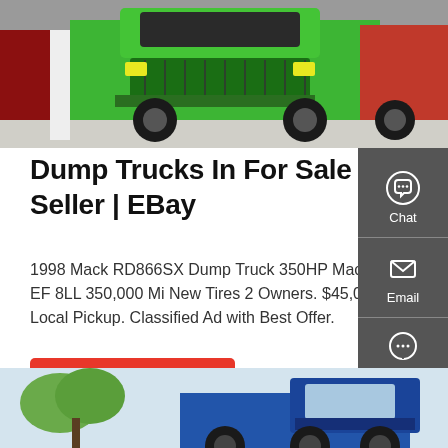[Figure (photo): Green dump truck at an auto show or exhibition, with other trucks visible in the background. Bright lime green heavy-duty dump truck prominently displayed.]
Dump Trucks In For Sale By:Private Seller | EBay
1998 Mack RD866SX Dump Truck 350HP Mack E-7 EF 8LL 350,000 Mi New Tires 2 Owners. $45,000.00. Local Pickup. Classified Ad with Best Offer.
[Figure (other): GET A QUOTE button — red/orange rectangular button with white bold text]
[Figure (photo): Blue dump truck outdoors, partially visible at the bottom of the page, with trees in background and sky.]